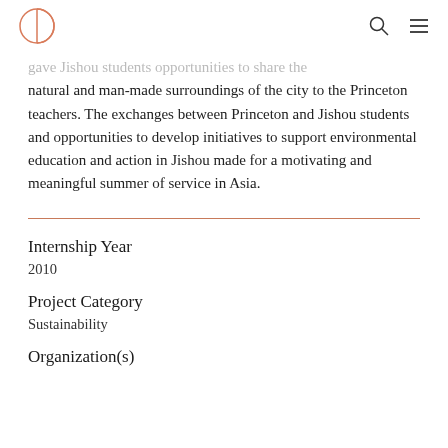[Logo] [Search icon] [Menu icon]
gave Jishou students opportunities to share the natural and man-made surroundings of the city to the Princeton teachers. The exchanges between Princeton and Jishou students and opportunities to develop initiatives to support environmental education and action in Jishou made for a motivating and meaningful summer of service in Asia.
Internship Year
2010
Project Category
Sustainability
Organization(s)